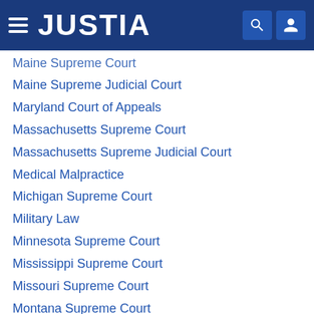JUSTIA
Maine Supreme Court
Maine Supreme Judicial Court
Maryland Court of Appeals
Massachusetts Supreme Court
Massachusetts Supreme Judicial Court
Medical Malpractice
Michigan Supreme Court
Military Law
Minnesota Supreme Court
Mississippi Supreme Court
Missouri Supreme Court
Montana Supreme Court
Native American Law
Nebraska Supreme Court
Nevada Supreme Court
New Hampshire Supreme Court
New Jersey Supreme Court
New Mexico Supreme Court
New York Court of Appeals
Non-Profit Corporation